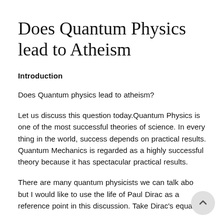Does Quantum Physics lead to Atheism
Introduction
Does Quantum physics lead to atheism?
Let us discuss this question today.Quantum Physics is one of the most successful theories of science. In every thing in the world, success depends on practical results. Quantum Mechanics is regarded as a highly successful theory because it has spectacular practical results.
There are many quantum physicists we can talk about but I would like to use the life of Paul Dirac as a reference point in this discussion. Take Dirac's equation